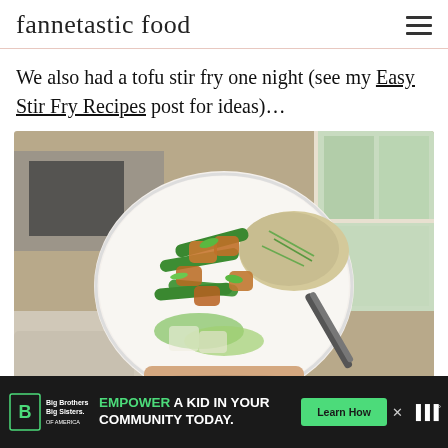fannetastic food
We also had a tofu stir fry one night (see my Easy Stir Fry Recipes post for ideas)…
[Figure (photo): A white bowl held in hand containing tofu stir fry with green beans, bok choy, and brown rice, with a fork, set near a kitchen window and microwave in background.]
EMPOWER A KID IN YOUR COMMUNITY TODAY. Learn How | Big Brothers Big Sisters of America